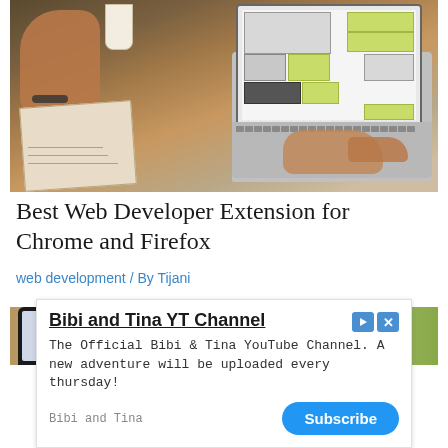[Figure (photo): Person using a laptop with wireframe design on screen, notebook and coffee cup on wooden desk]
Best Web Developer Extension for Chrome and Firefox
web development / By Tijani
[Figure (photo): Partial image of a tablet device on a wooden surface with a plant]
Bibi and Tina YT Channel
The Official Bibi & Tina YouTube Channel. A new adventure will be uploaded every thursday!
Bibi and Tina  [Subscribe]